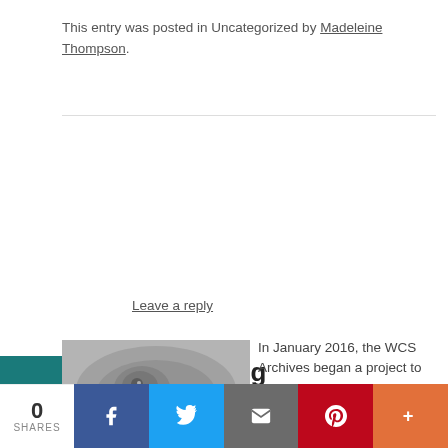This entry was posted in Uncategorized by Madeleine Thompson.
Preserving Herpetological History... and Beyond
Leave a reply
[Figure (photo): Black and white close-up photograph of a reptile (snake or lizard) head]
In January 2016, the WCS Archives began a project to preserve WCS's historical photographic negatives
0 SHARES | Facebook | Twitter | Email | Pinterest | More